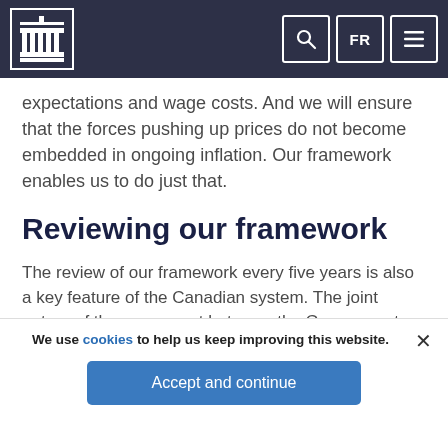Bank of Canada website header with logo, search, FR language toggle, and menu icons
expectations and wage costs. And we will ensure that the forces pushing up prices do not become embedded in ongoing inflation. Our framework enables us to do just that.
Reviewing our framework
The review of our framework every five years is also a key feature of the Canadian system. The joint nature of the agreement between the Government and the Bank of Canada reinforces both the democratic legitimacy of the framework and our operational independence to
We use cookies to help us keep improving this website.